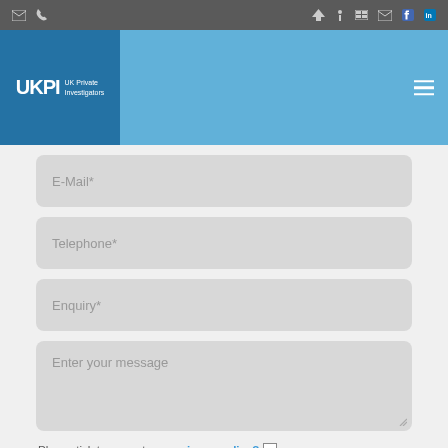[Figure (screenshot): Navigation top bar with email, phone, home, info, grid, mail, Facebook, and LinkedIn icons]
[Figure (logo): UKPI UK Private Investigators logo on blue background header with hamburger menu]
E-Mail*
Telephone*
Enquiry*
Enter your message
Please tick to agree to our privacy policy?